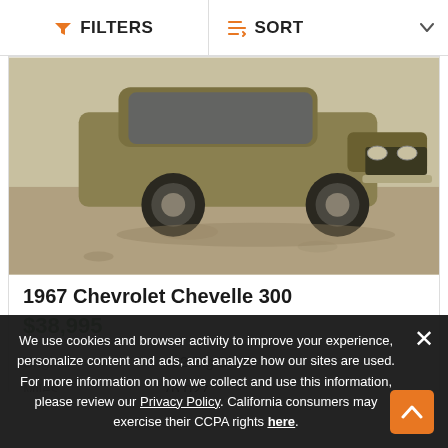FILTERS   SORT
[Figure (photo): Photo of a 1967 Chevrolet Chevelle 300 in gold/olive color, front view, parked on dirt/gravel ground]
1967 Chevrolet Chevelle 300
$38,995
|  |  |
| --- | --- |
| Engine | 402 Big Block |
| Miles | 76,027 |
We use cookies and browser activity to improve your experience, personalize content and ads, and analyze how our sites are used. For more information on how we collect and use this information, please review our Privacy Policy. California consumers may exercise their CCPA rights here.